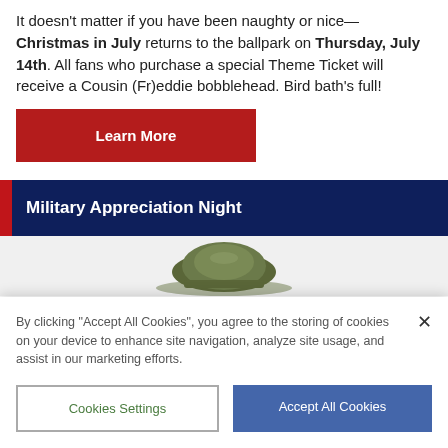It doesn't matter if you have been naughty or nice—Christmas in July returns to the ballpark on Thursday, July 14th. All fans who purchase a special Theme Ticket will receive a Cousin (Fr)eddie bobblehead. Bird bath's full!
Learn More
Military Appreciation Night
[Figure (photo): Partial view of a military-style cap/hat, olive green color, partially visible at bottom of section]
By clicking "Accept All Cookies", you agree to the storing of cookies on your device to enhance site navigation, analyze site usage, and assist in our marketing efforts.
Cookies Settings
Accept All Cookies